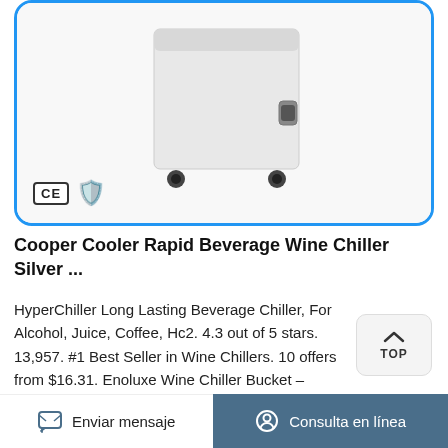[Figure (photo): White chest freezer/cooler appliance with black wheels, shown against white background. CE mark and gold shield badge visible in lower left of image frame with blue rounded border.]
Cooper Cooler Rapid Beverage Wine Chiller Silver ...
HyperChiller Long Lasting Beverage Chiller, For Alcohol, Juice, Coffee, Hc2. 4.3 out of 5 stars. 13,957. #1 Best Seller in Wine Chillers. 10 offers from $16.31. Enoluxe Wine Chiller Bucket – Champagne Bucket – Elegant White Wine Bucket or Champagne Chiller for All 750 ml Bottles – Insulated Wine Cooler Bucket to Keep Wine Cold (Stainless Steel
Enviar mensaje   Consulta en línea